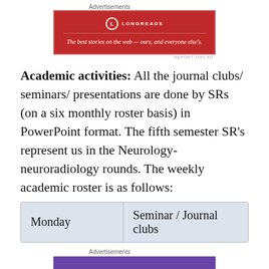Advertisements
[Figure (other): Longreads advertisement banner in red: 'The best stories on the web — ours, and everyone else's.']
Academic activities: All the journal clubs/ seminars/ presentations are done by SRs (on a six monthly roster basis) in PowerPoint format. The fifth semester SR's represent us in the Neurology-neuroradiology rounds. The weekly academic roster is as follows:
| Monday | Seminar / Journal clubs |
| --- | --- |
Advertisements
[Figure (other): WooCommerce advertisement: 'How to start selling subscriptions online']